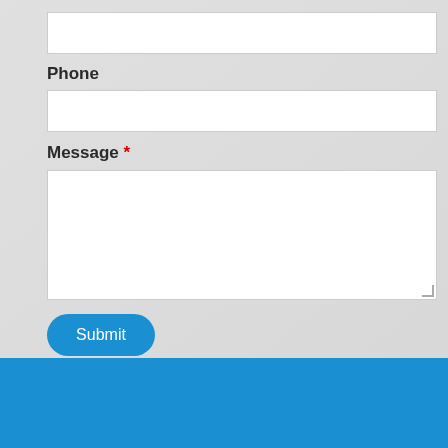[Figure (screenshot): Empty text input field at the top of the form]
Phone
[Figure (screenshot): Empty phone input field]
Message *
[Figure (screenshot): Large empty textarea for message input with resize handle]
Submit
Kerby And Associates